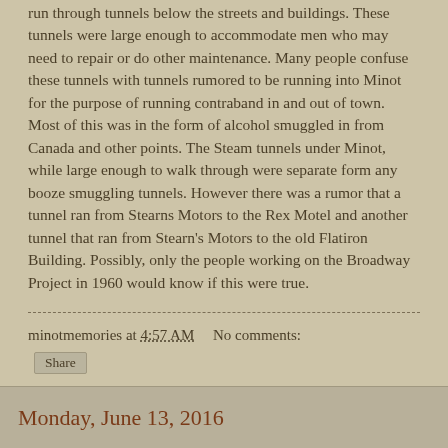run through tunnels below the streets and buildings. These tunnels were large enough to accommodate men who may need to repair or do other maintenance. Many people confuse these tunnels with tunnels rumored to be running into Minot for the purpose of running contraband in and out of town. Most of this was in the form of alcohol smuggled in from Canada and other points. The Steam tunnels under Minot, while large enough to walk through were separate form any booze smuggling tunnels. However there was a rumor that a tunnel ran from Stearns Motors to the Rex Motel and another tunnel that ran from Stearn's Motors to the old Flatiron Building. Possibly, only the people working on the Broadway Project in 1960 would know if this were true.
minotmemories at 4:57 AM     No comments:
Share
Monday, June 13, 2016